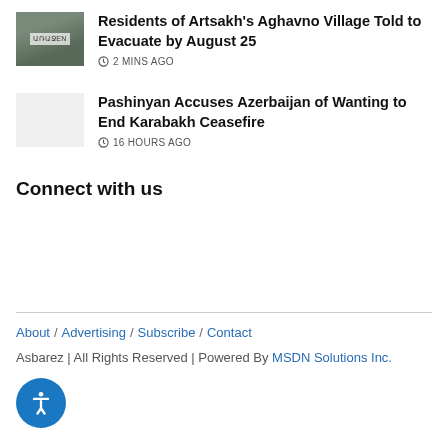[Figure (photo): Thumbnail photo of a road with Armenian text sign reading 'ԱՌԱՋEN']
Residents of Artsakh's Aghavno Village Told to Evacuate by August 25
2 MINS AGO
[Figure (photo): Blank/placeholder thumbnail image]
Pashinyan Accuses Azerbaijan of Wanting to End Karabakh Ceasefire
16 HOURS AGO
Connect with us
About / Advertising / Subscribe / Contact
Asbarez | All Rights Reserved | Powered By MSDN Solutions Inc.